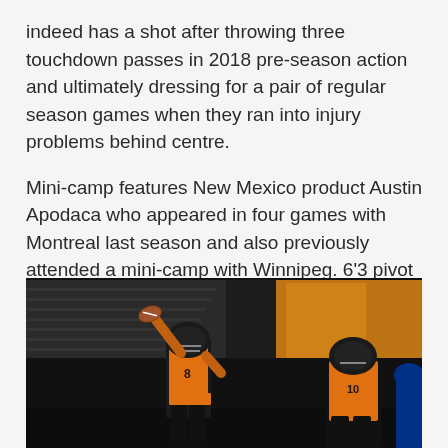indeed has a shot after throwing three touchdown passes in 2018 pre-season action and ultimately dressing for a pair of regular season games when they ran into injury problems behind centre.
Mini-camp features New Mexico product Austin Apodaca who appeared in four games with Montreal last season and also previously attended a mini-camp with Winnipeg. 6'3 pivot Cole Sears out of Arkansas-Monticello was also added to the roster this week.
[Figure (photo): A quarterback in a black and orange BC Lions CFL jersey throwing a football in an indoor stadium. Another player in orange and black is visible to the right. Stadium seating and an orange banner are visible in the background.]